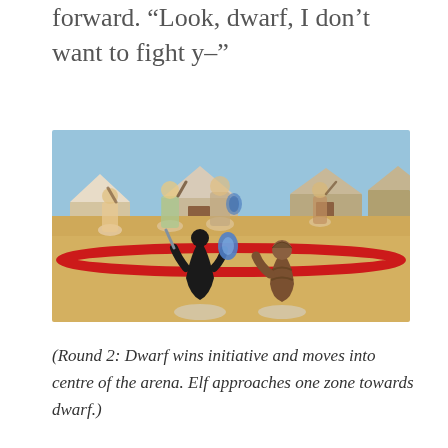forward. “Look, dwarf, I don’t want to fight y–”
[Figure (photo): Tabletop miniature game scene showing two small character figures (an elf and a dwarf) facing each other in the centre of an arena marked by a red rope. Several larger miniature figures are visible in the blurred background along with two hut/building props. The arena floor is sandy/wooden coloured.]
(Round 2: Dwarf wins initiative and moves into centre of the arena. Elf approaches one zone towards dwarf.)